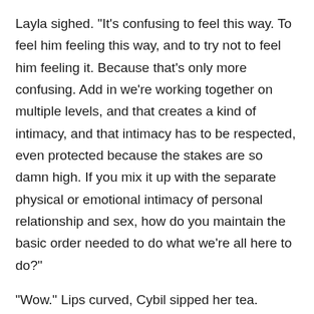Layla sighed. "It's confusing to feel this way. To feel him feeling this way, and to try not to feel him feeling it. Because that's only more confusing. Add in we're working together on multiple levels, and that creates a kind of intimacy, and that intimacy has to be respected, even protected because the stakes are so damn high. If you mix it up with the separate physical or emotional intimacy of personal relationship and sex, how do you maintain the basic order needed to do what we're all here to do?"
"Wow." Lips curved, Cybil sipped her tea. "That's a lot of thinking."
"I know."